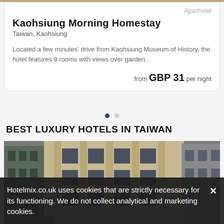Aparthotel
Kaohsiung Morning Homestay
Taiwan, Kaohsiung
Located a few minutes' drive from Kaohsiung Museum of History, the hotel features 9 rooms with views over garden.
from GBP 31 per night
BEST LUXURY HOTELS IN TAIWAN
[Figure (photo): Exterior photo of a multi-story hotel building with Art Deco style facade]
Hotelmix.co.uk uses cookies that are strictly necessary for its functioning. We do not collect analytical and marketing cookies.